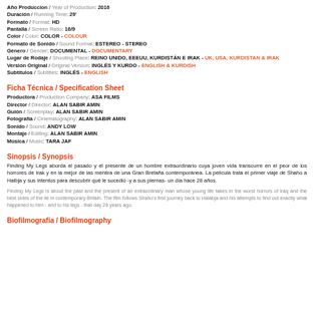Año Produccion / Year of Production: 2016
Duración / Running Time: 29'
Formato / Format: HD
Pantalla / Screen Ratio: 16/9
Color / Color: COLOR - COLOUR
Formato de Sonido / Sound Format: ESTEREO - STEREO
Género / Gender: DOCUMENTAL - DOCUMENTARY
Lugar de Rodaje / Shooting Place: REINO UNIDO, EEEUU, KURDISTÁN E IRAK - UK, USA, KURDISTAN & IRAK
Versión Original / Original Version: INGLÉS Y KURDO - ENGLISH & KURDISH
Subtitulos / Subtitles: INGLÉS - ENGLISH
Ficha Técnica / Specification Sheet
Productora / Production Company: ASA FILMS
Director / Director: ALAN SABIR AMIN
Guión / Screenplay: ALAN SABIR AMIN
Fotografía / Cinematography: ALAN SABIR AMIN
Sonido / Sound: ANDY LOW
Montaje / Editing: ALAN SABIR AMIN
Música / Music: TARA JAF
Sinopsis / Synopsis
Finding My Legs aborda el pasado y el presente de un hombre extraordinario cuya joven vida transcurre en el peor de los horrores de Irak y en la mejor de las mentira de una Gran Bretaña contemporánea. La pelicula trata el primer viaje de Shaho a Halbja y sus intentos para descubrir qué le sucedió -y a sus piernas- un día hace 28 años.
Finding My Legs is about the past and the present of an extraordinary man whose young life takes in the worst horrors of Iraq and the best sides of the lie in contemporary Britain. The film follows Shaho's first journey back to Halabja and his attempts to find out exactly what happened to him - and to his legs - that day 28 years ago.
Biofilmografia / Biofilmography